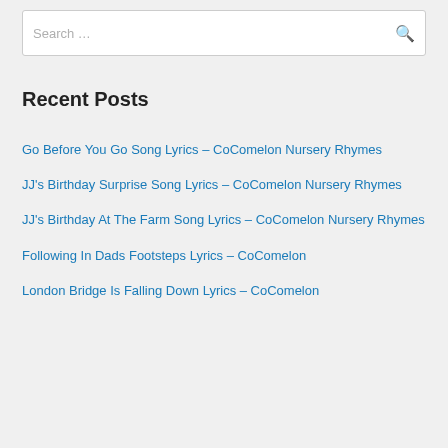Search …
Recent Posts
Go Before You Go Song Lyrics – CoComelon Nursery Rhymes
JJ's Birthday Surprise Song Lyrics – CoComelon Nursery Rhymes
JJ's Birthday At The Farm Song Lyrics – CoComelon Nursery Rhymes
Following In Dads Footsteps Lyrics – CoComelon
London Bridge Is Falling Down Lyrics – CoComelon